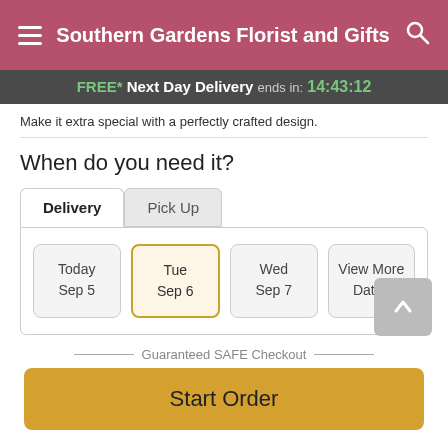Southern Gardens Florist and Gifts
FREE* Next Day Delivery ends in: 14:43:12
Make it extra special with a perfectly crafted design.
When do you need it?
Delivery | Pick Up tabs with dates: Today Sep 5, Tue Sep 6 (selected), Wed Sep 7, View More Dates
Guaranteed SAFE Checkout
Start Order